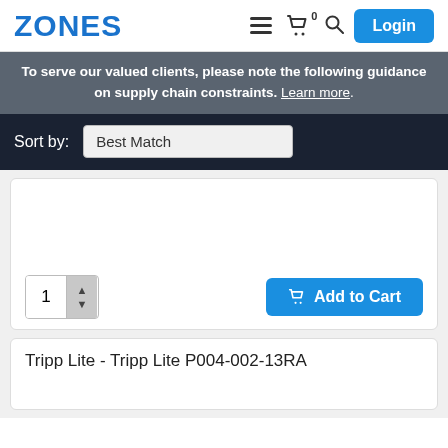ZONES
To serve our valued clients, please note the following guidance on supply chain constraints. Learn more.
Sort by: Best Match
[Figure (screenshot): Quantity selector showing value 1 with up/down arrows, and an Add to Cart button in blue]
Tripp Lite - Tripp Lite P004-002-13RA